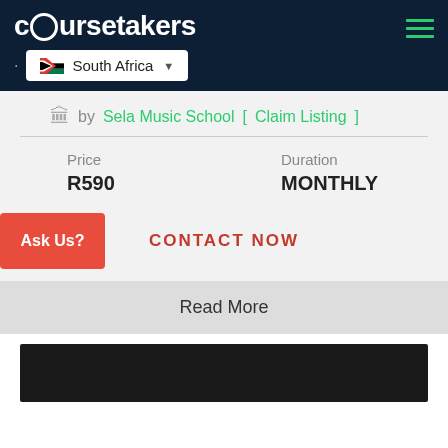coursetakers
South Africa
by Sela Music School [ Claim Listing ]
| Price | Duration |
| --- | --- |
| R590 | MONTHLY |
Ask Us?
CONTACT NOW
Read More
[Figure (photo): Dark/black image placeholder at bottom of page]